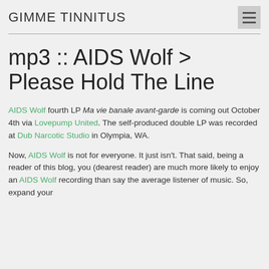GIMME TINNITUS
mp3 :: AIDS Wolf > Please Hold The Line
AIDS Wolf fourth LP Ma vie banale avant-garde is coming out October 4th via Lovepump United. The self-produced double LP was recorded at Dub Narcotic Studio in Olympia, WA.
Now, AIDS Wolf is not for everyone. It just isn't. That said, being a reader of this blog, you (dearest reader) are much more likely to enjoy an AIDS Wolf recording than say the average listener of music. So, expand your